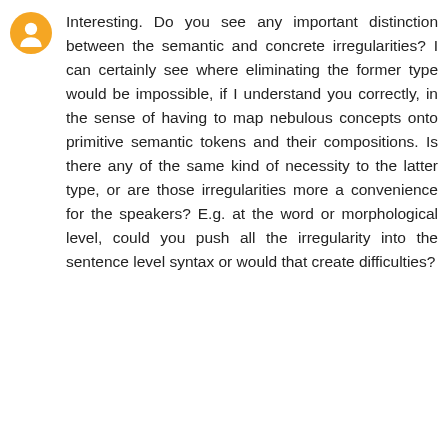Interesting. Do you see any important distinction between the semantic and concrete irregularities? I can certainly see where eliminating the former type would be impossible, if I understand you correctly, in the sense of having to map nebulous concepts onto primitive semantic tokens and their compositions. Is there any of the same kind of necessity to the latter type, or are those irregularities more a convenience for the speakers? E.g. at the word or morphological level, could you push all the irregularity into the sentence level syntax or would that create difficulties?
John Shutt  February 25, 2018 at 3:25 PM
Lamlosuo has an extremely simple grammar. My sense is that the more complex the grammar, the more semantics would be entangled with it, and thus the more semantic irregularity would spill over into it.